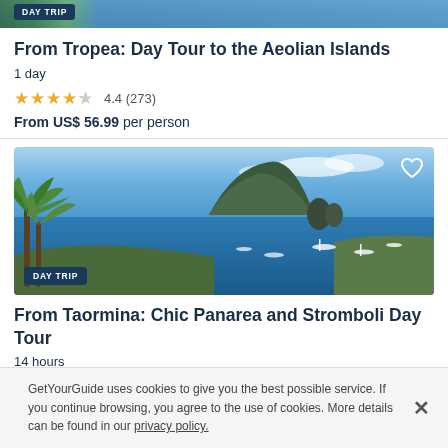[Figure (photo): Top strip of a coastal/travel photo with blue sky and water tones, partially cropped, with DAY TRIP badge overlay]
From Tropea: Day Tour to the Aeolian Islands
1 day
★★★★½ 4.4 (273)
From US$ 56.99 per person
[Figure (photo): Scenic photo of the Aeolian Islands from Taormina showing palm trees, blue sea, islands in background, boats in harbor, with DAY TRIP badge and heart/favorite button]
From Taormina: Chic Panarea and Stromboli Day Tour
14 hours
★★★★☆ 3.9 (147)
GetYourGuide uses cookies to give you the best possible service. If you continue browsing, you agree to the use of cookies. More details can be found in our privacy policy.